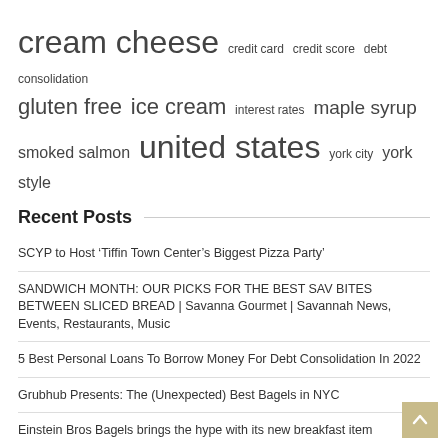cream cheese  credit card  credit score  debt consolidation  gluten free  ice cream  interest rates  maple syrup  smoked salmon  united states  york city  york style
Recent Posts
SCYP to Host ‘Tiffin Town Center’s Biggest Pizza Party’
SANDWICH MONTH: OUR PICKS FOR THE BEST SAV BITES BETWEEN SLICED BREAD | Savanna Gourmet | Savannah News, Events, Restaurants, Music
5 Best Personal Loans To Borrow Money For Debt Consolidation In 2022
Grubhub Presents: The (Unexpected) Best Bagels in NYC
Einstein Bros Bagels brings the hype with its new breakfast item